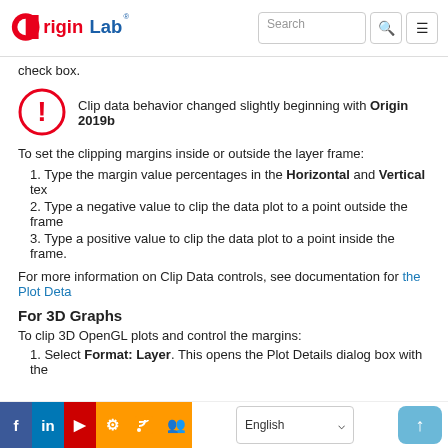OriginLab [Search] [menu]
check box.
Clip data behavior changed slightly beginning with Origin 2019b
To set the clipping margins inside or outside the layer frame:
1. Type the margin value percentages in the Horizontal and Vertical tex
2. Type a negative value to clip the data plot to a point outside the frame
3. Type a positive value to clip the data plot to a point inside the frame.
For more information on Clip Data controls, see documentation for the Plot Deta
For 3D Graphs
To clip 3D OpenGL plots and control the margins:
1. Select Format: Layer. This opens the Plot Details dialog box with the
Facebook LinkedIn YouTube Settings RSS Groups | English | Up